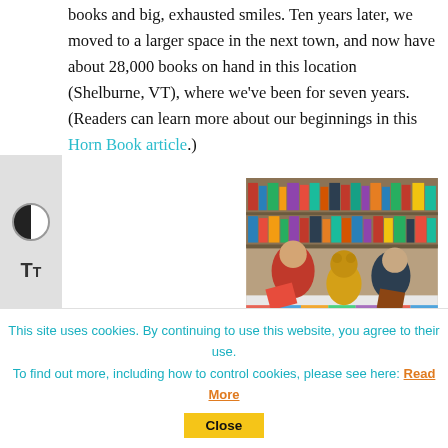books and big, exhausted smiles. Ten years later, we moved to a larger space in the next town, and now have about 28,000 books on hand in this location (Shelburne, VT), where we've been for seven years. (Readers can learn more about our beginnings in this Horn Book article.)
[Figure (photo): Two women sitting on a colorful floor mat surrounded by bookshelves, reading books with a large teddy bear between them]
MUF: Describe the atmosphere of your shop. Elizabeth: What we strive for is a
This site uses cookies. By continuing to use this website, you agree to their use. To find out more, including how to control cookies, please see here: Read More